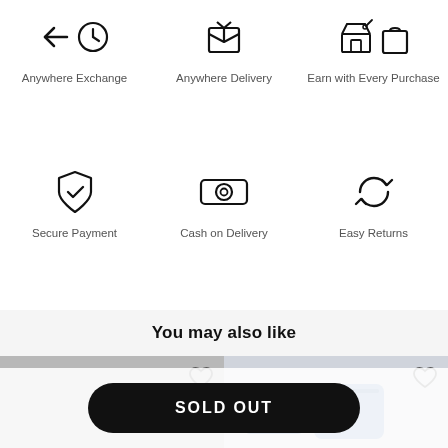[Figure (infographic): Six feature icons in a 2-row 3-column grid: Anywhere Exchange (back arrow + clock), Anywhere Delivery (package box), Earn with Every Purchase (store + shopping bag), Secure Payment (shield with checkmark), Cash on Delivery (eye/cash icon), Easy Returns (circular arrows)]
You may also like
[Figure (illustration): Two product card thumbnails side by side, each with a heart/wishlist icon. Left card: gray background (no product visible). Right card: blue accessory products visible.]
SOLD OUT